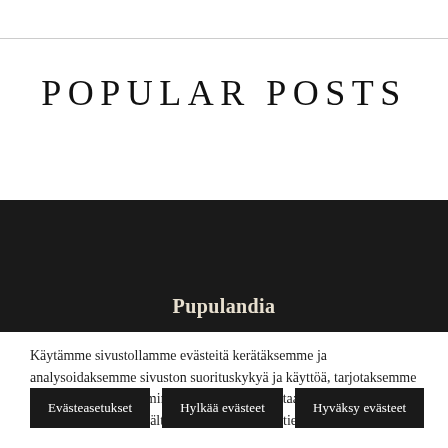POPULAR POSTS
Pupulandia
Käytämme sivustollamme evästeitä kerätäksemme ja analysoidaksemme sivuston suorituskykyä ja käyttöä, tarjotaksemme sosiaalisen median ominaisuuksia sekä parantaaksemme ja räätälöidäksemme sisältöä ja mainoksia. Lisätietoja
Evästeasetukset
Hylkää evästeet
Hyväksy evästeet